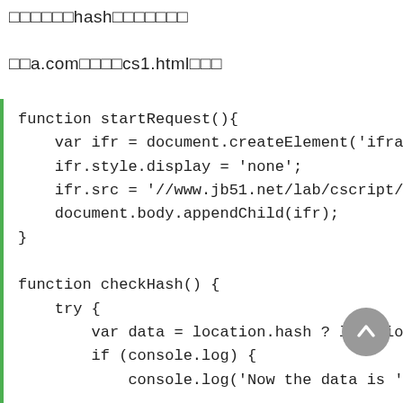□□□□□□hash□□□□□□□
□□a.com□□□□cs1.html□□□
function startRequest(){
    var ifr = document.createElement('iframe');
    ifr.style.display = 'none';
    ifr.src = '//www.jb51.net/lab/cscript/cs2.html#
    document.body.appendChild(ifr);
}

function checkHash() {
    try {
        var data = location.hash ? location.hash.s
        if (console.log) {
            console.log('Now the data is '+data);